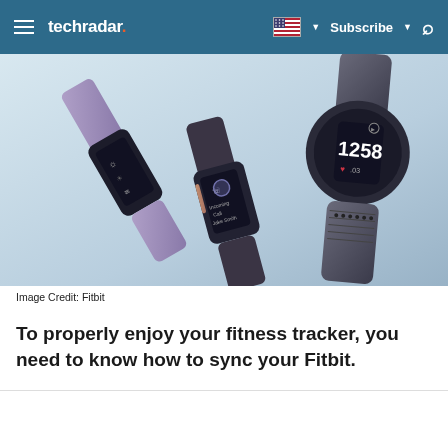techradar | Subscribe
[Figure (photo): Multiple Fitbit fitness tracker wristbands photographed on a light blue background. One shows an incoming call from Jake Smith, another shows a settings/activity screen, and a third shows the time 12:58 with heart rate display.]
Image Credit: Fitbit
To properly enjoy your fitness tracker, you need to know how to sync your Fitbit.